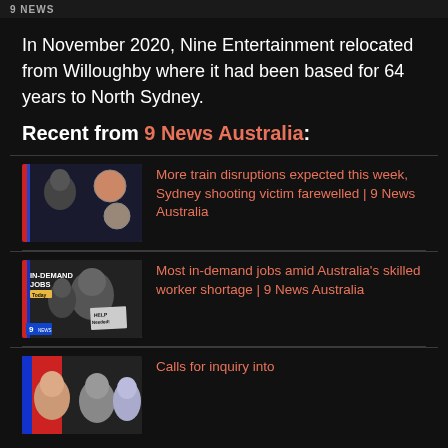9 NEWS
In November 2020, Nine Entertainment relocated from Willoughby where it had been based for 64 years to North Sydney.
Recent from 9 News Australia:
[Figure (screenshot): 9 News thumbnail: Trains Delayed, Shooting Victim Farewelled]
More train disruptions expected this week, Sydney shooting victim farewelled | 9 News Australia
[Figure (screenshot): 9 News thumbnail: In-Demand Jobs, Help Needed sign]
Most in-demand jobs amid Australia's skilled worker shortage | 9 News Australia
[Figure (screenshot): 9 News thumbnail: Calls for inquiry into...]
Calls for inquiry into